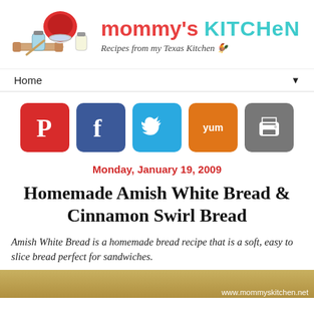[Figure (logo): Mommy's Kitchen logo with red stand mixer, baking tools, and jars. Site name 'mommy's KITCHEN' in red/teal, subtitle 'Recipes from my Texas Kitchen']
Home ▼
[Figure (infographic): Row of social sharing buttons: Pinterest (red), Facebook (blue), Twitter (light blue), Yummly (orange), Print (grey)]
Monday, January 19, 2009
Homemade Amish White Bread & Cinnamon Swirl Bread
Amish White Bread is a homemade bread recipe that is a soft, easy to slice bread perfect for sandwiches.
[Figure (photo): Partial photo of bread with www.mommyskitchen.net watermark]